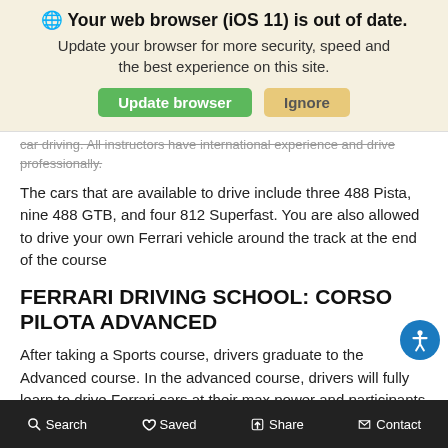[Figure (screenshot): Browser update notification banner with globe icon, bold heading 'Your web browser (iOS 11) is out of date.', subtext 'Update your browser for more security, speed and the best experience on this site.', a green 'Update browser' button and a tan 'Ignore' button.]
car driving. All instructors have international experience and drive professionally.
The cars that are available to drive include three 488 Pista, nine 488 GTB, and four 812 Superfast. You are also allowed to drive your own Ferrari vehicle around the track at the end of the course
FERRARI DRIVING SCHOOL: CORSO PILOTA ADVANCED
After taking a Sports course, drivers graduate to the Advanced course. In the advanced course, drivers will fully learn to drive Ferrari cars at their max power and participants will acquire advanced skills in fast driving and vehicle control. This course is developed to build onto the skills you already learned in the sport course. This course is tailored to suit your individual needs and boasts a better instructor/participant ratio.
Search   Saved   Share   Contact